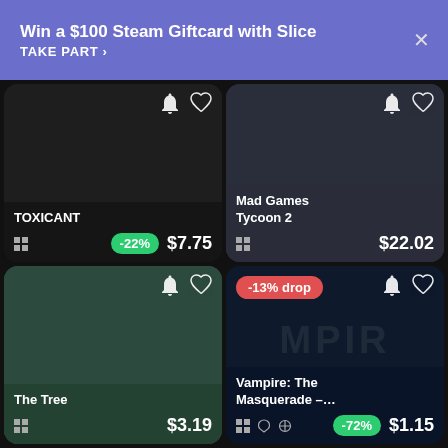Win a $100 Steam Giftcard with Slice
TAKE PART >
[Figure (screenshot): Game card for TOXICANT, dark background, bell and heart icons, Windows icon, -22% badge, price $7.75]
[Figure (screenshot): Game card for Mad Games Tycoon 2, dark gray background, bell and heart icons, Windows icon, price $22.02]
[Figure (screenshot): Game card for The Tree, dark green background, bell and heart icons, Windows icon, price $3.19]
[Figure (screenshot): Game card for Vampire: The Masquerade -, dark navy background, -13% drop red badge, bell and heart icons, Windows/Apple/Steam icons, -72% badge, price $1.15]